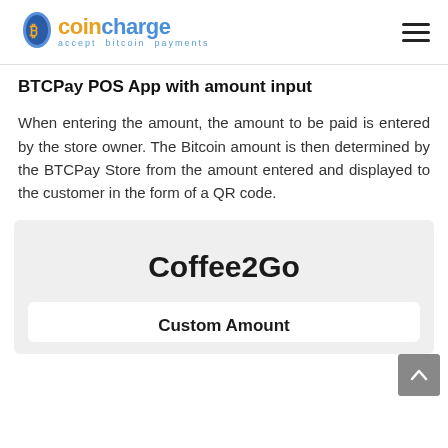coincharge — accept bitcoin payments
BTCPay POS App with amount input
When entering the amount, the amount to be paid is entered by the store owner. The Bitcoin amount is then determined by the BTCPay Store from the amount entered and displayed to the customer in the form of a QR code.
[Figure (screenshot): BTCPay POS App screenshot showing 'Coffee2Go' store name header and a 'Custom Amount' input section below on a light gray background.]